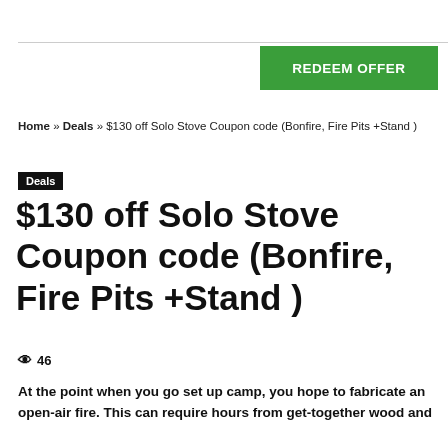[Figure (other): Green 'REDEEM OFFER' button in top right area]
Home » Deals » $130 off Solo Stove Coupon code (Bonfire, Fire Pits +Stand )
Deals
$130 off Solo Stove Coupon code (Bonfire, Fire Pits +Stand )
👁 46
At the point when you go set up camp, you hope to fabricate an open-air fire. This can require hours from get-together wood and cleaning up trash from